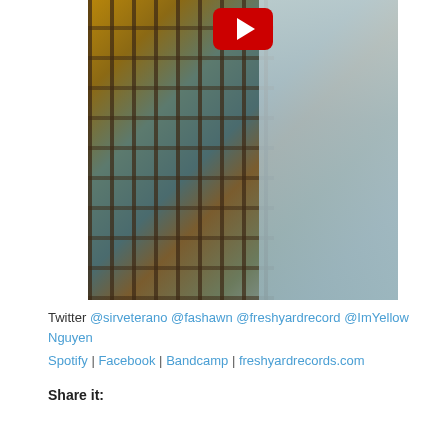[Figure (photo): YouTube video thumbnail showing a person in a striped shirt near a metal gate with warm lighting. A red YouTube play button is visible at the top center.]
Twitter @sirveterano @fashawn @freshyardrecord @ImYellow Nguyen
Spotify | Facebook | Bandcamp | freshyardrecords.com
Share it: